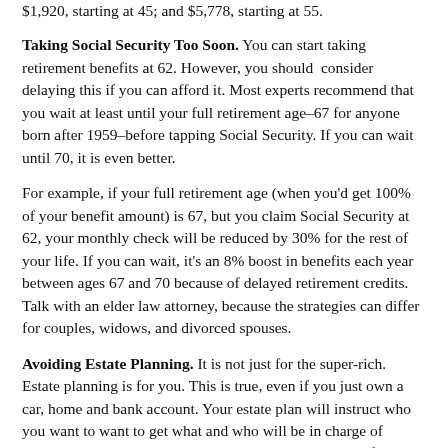$1,920, starting at 45; and $5,778, starting at 55.
Taking Social Security Too Soon. You can start taking retirement benefits at 62. However, you should consider delaying this if you can afford it. Most experts recommend that you wait at least until your full retirement age–67 for anyone born after 1959–before tapping Social Security. If you can wait until 70, it is even better.
For example, if your full retirement age (when you'd get 100% of your benefit amount) is 67, but you claim Social Security at 62, your monthly check will be reduced by 30% for the rest of your life. If you can wait, it's an 8% boost in benefits each year between ages 67 and 70 because of delayed retirement credits. Talk with an elder law attorney, because the strategies can differ for couples, widows, and divorced spouses.
Avoiding Estate Planning. It is not just for the super-rich. Estate planning is for you. This is true, even if you just own a car, home and bank account. Your estate plan will instruct who you want to want to get what and who will be in charge of dispersing your money and possessions (the executor). If you pass away without a will, your estate is subject to your state's probate laws. You should also have a durable power of attorney that...